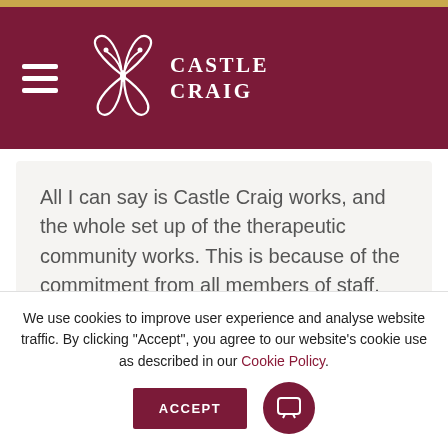Castle Craig
All I can say is Castle Craig works, and the whole set up of the therapeutic community works. This is because of the commitment from all members of staff.
— James
We use cookies to improve user experience and analyse website traffic. By clicking "Accept", you agree to our website's cookie use as described in our Cookie Policy.